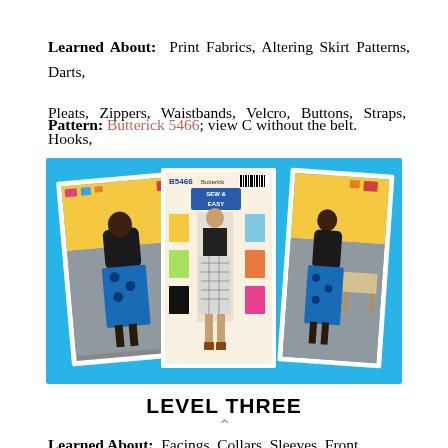Learned About: Print Fabrics, Altering Skirt Patterns, Darts, Pleats, Zippers, Waistbands, Velcro, Buttons, Straps, Hooks, and more...
Pattern: Butterick 5466; view C without the belt.
[Figure (photo): Collage of three photos on a blue background: left photo shows a woman standing in a classroom wearing a blue patterned skirt and black top; center photo shows Butterick B5466 sewing pattern envelope featuring multiple skirt views; right photo shows the same woman from a different angle wearing the same outfit in the classroom.]
LEVEL THREE
Learned About: Facings, Collars, Sleeves, Front Closures,